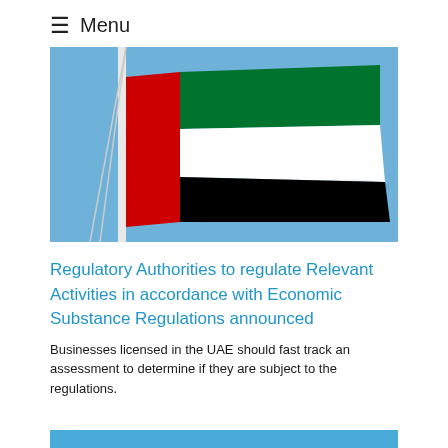≡ Menu
[Figure (photo): UAE flag waving against a blue sky, mounted on a white flagpole. The flag displays the UAE colors: red vertical stripe on the left, with horizontal stripes of green, white, and black.]
Regulatory Authorities to regulate Relevant Activities in accordance with Economic Substance Regulations announced
Businesses licensed in the UAE should fast track an assessment to determine if they are subject to the regulations.